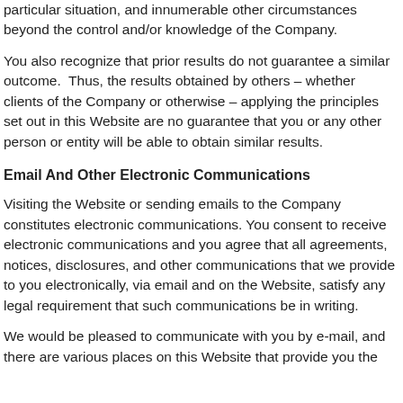particular situation, and innumerable other circumstances beyond the control and/or knowledge of the Company.
You also recognize that prior results do not guarantee a similar outcome. Thus, the results obtained by others – whether clients of the Company or otherwise – applying the principles set out in this Website are no guarantee that you or any other person or entity will be able to obtain similar results.
Email And Other Electronic Communications
Visiting the Website or sending emails to the Company constitutes electronic communications. You consent to receive electronic communications and you agree that all agreements, notices, disclosures, and other communications that we provide to you electronically, via email and on the Website, satisfy any legal requirement that such communications be in writing.
We would be pleased to communicate with you by e-mail, and there are various places on this Website that provide you the